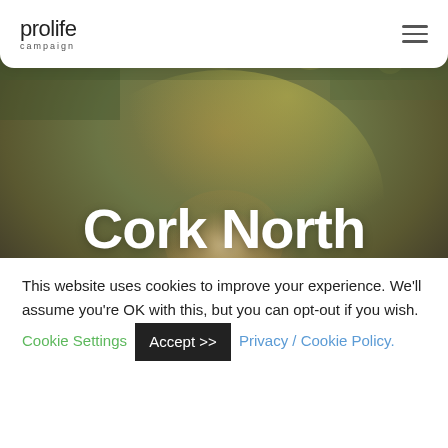prolife campaign
[Figure (photo): Hero background photo of a person with blond hair, with bokeh light effects in the background (outdoor scene with blurred green and golden tones). Text overlay reads 'Cork North Central']
Cork North Central
This website uses cookies to improve your experience. We'll assume you're OK with this, but you can opt-out if you wish.
Cookie Settings | Accept >> | Privacy / Cookie Policy.